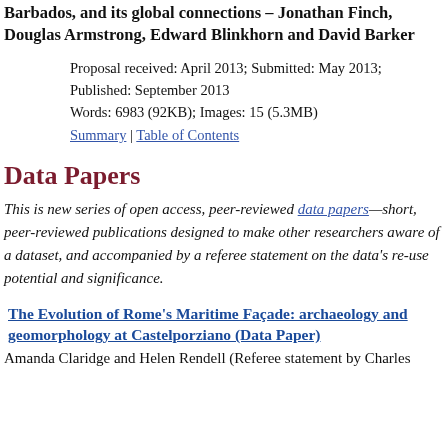Barbados, and its global connections – Jonathan Finch, Douglas Armstrong, Edward Blinkhorn and David Barker
Proposal received: April 2013; Submitted: May 2013; Published: September 2013
Words: 6983 (92KB); Images: 15 (5.3MB)
Summary | Table of Contents
Data Papers
This is new series of open access, peer-reviewed data papers—short, peer-reviewed publications designed to make other researchers aware of a dataset, and accompanied by a referee statement on the data's re-use potential and significance.
The Evolution of Rome's Maritime Façade: archaeology and geomorphology at Castelporziano (Data Paper)
Amanda Claridge and Helen Rendell (Referee statement by Charles